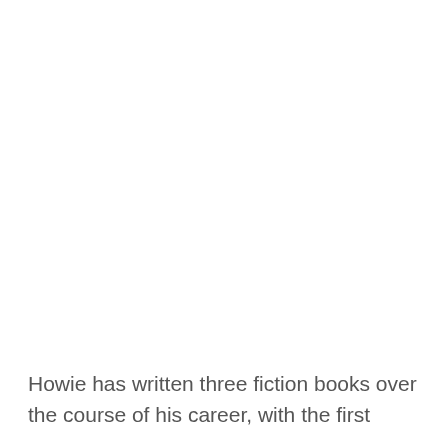Howie has written three fiction books over the course of his career, with the first